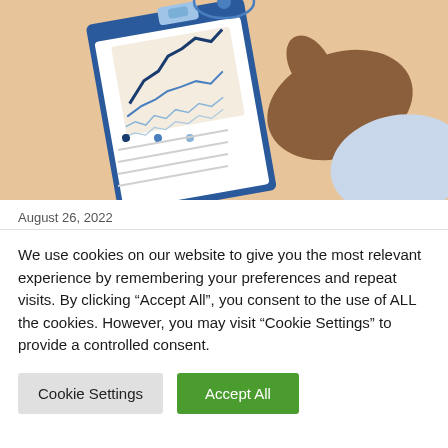[Figure (illustration): Illustration of a hand holding a document with line charts on a clipboard on a wooden desk background]
August 26, 2022
We use cookies on our website to give you the most relevant experience by remembering your preferences and repeat visits. By clicking “Accept All”, you consent to the use of ALL the cookies. However, you may visit “Cookie Settings” to provide a controlled consent.
Cookie Settings | Accept All